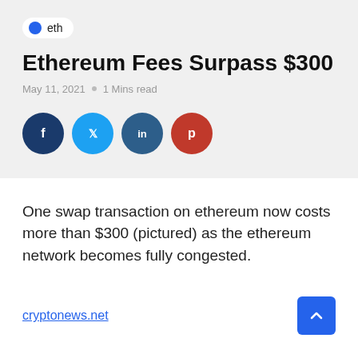eth
Ethereum Fees Surpass $300
May 11, 2021   0   1 Mins read
[Figure (other): Social share buttons: Facebook, Twitter, LinkedIn, Pinterest]
One swap transaction on ethereum now costs more than $300 (pictured) as the ethereum network becomes fully congested.
cryptonews.net